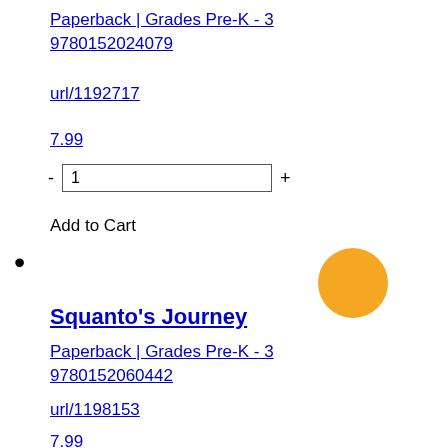Paperback | Grades Pre-K - 3
9780152024079
url/1192717
7.99
- 1 +
Add to Cart
[Figure (illustration): Orange/yellow filled circle]
Squanto's Journey
Paperback | Grades Pre-K - 3
9780152060442
url/1198153
7.99